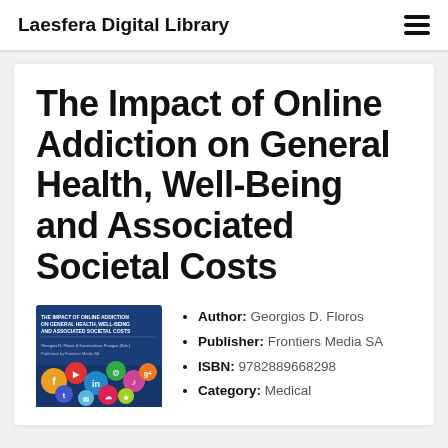Laesfera Digital Library
The Impact of Online Addiction on General Health, Well-Being and Associated Societal Costs
[Figure (illustration): Book cover for 'The Impact of Online Addiction on General Health, Well-Being and Associated Societal Costs', dark blue background with colorful social media and internet icons]
Author: Georgios D. Floros
Publisher: Frontiers Media SA
ISBN: 9782889668298
Category: Medical